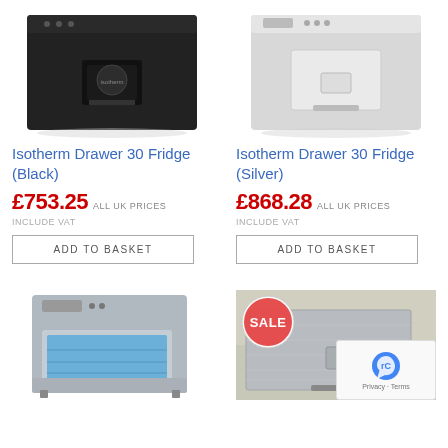[Figure (photo): Isotherm Drawer 30 Fridge in black color, top-down front view on white background]
[Figure (photo): Isotherm Drawer 30 Fridge in silver/white color, top-down front view on white background]
Isotherm Drawer 30 Fridge (Black)
Isotherm Drawer 30 Fridge (Silver)
£753.25 ALL UK PRICES INCLUDE VAT
£868.28 ALL UK PRICES INCLUDE VAT
ADD TO BASKET
ADD TO BASKET
[Figure (photo): Isotherm drawer fridge open showing blue interior, silver exterior, side view]
[Figure (photo): Stainless steel fridge drawer product with SALE badge overlay]